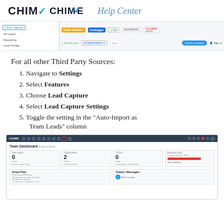CHIME Help Center
[Figure (screenshot): Screenshot strip showing lead capture navigation sidebar with third-party logos: Dave Ramsey, Footlogger, flipt, Geographic, HomeValue Leads, Homes.com, IDX. Also shows Submit a request button and Sign in link.]
For all other Third Party Sources:
Navigate to Settings
Select Features
Choose Lead Capture
Select Lead Capture Settings
Toggle the setting in the "Auto-Import as Team Leads" column
[Figure (screenshot): Screenshot of the Chime CRM interface showing the Team Dashboard with New Leads (0 today), Opportunities (2 today), To Do's (0 today), Business Goal progress bar, Smart Plan section, and Today's Messages section. The settings gear icon is highlighted with a red border in the navigation bar.]